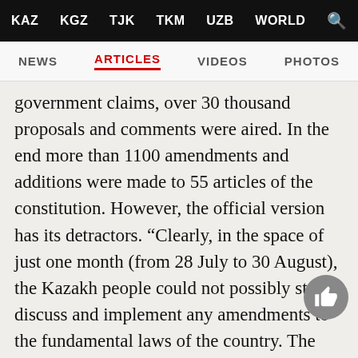KAZ  KGZ  TJK  TKM  UZB  WORLD
NEWS  ARTICLES  VIDEOS  PHOTOS
government claims, over 30 thousand proposals and comments were aired. In the end more than 1100 amendments and additions were made to 55 articles of the constitution. However, the official version has its detractors. “Clearly, in the space of just one month (from 28 July to 30 August), the Kazakh people could not possibly study, discuss and implement any amendments to the fundamental laws of the country. The educational level and political maturity of the Kazakh population at that time was not sufficiently high,” pointed out Zauresh Battalova, chairwoman of the Foundation for the Development of Parliamentarianism, in an interview to The-steppe.